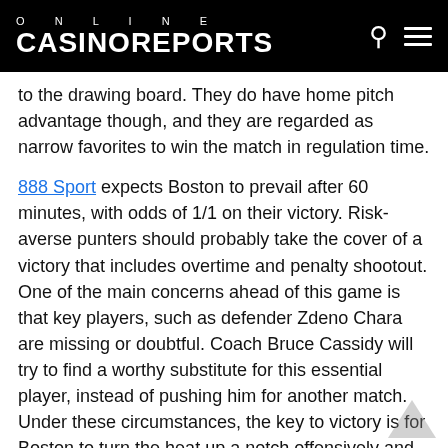ONLINE CASINOREPORTS
to the drawing board. They do have home pitch advantage though, and they are regarded as narrow favorites to win the match in regulation time.
888 Sport expects Boston to prevail after 60 minutes, with odds of 1/1 on their victory. Risk-averse punters should probably take the cover of a victory that includes overtime and penalty shootout. One of the main concerns ahead of this game is that key players, such as defender Zdeno Chara are missing or doubtful. Coach Bruce Cassidy will try to find a worthy substitute for this essential player, instead of pushing him for another match. Under these circumstances, the key to victory is for Boston to turn the heat up a notch offensively and return to their goalscoring percentage from games one and three.
St. Louis are Favorites to Win in Overtime
The Blues travel to Boston trying to capitalize on the